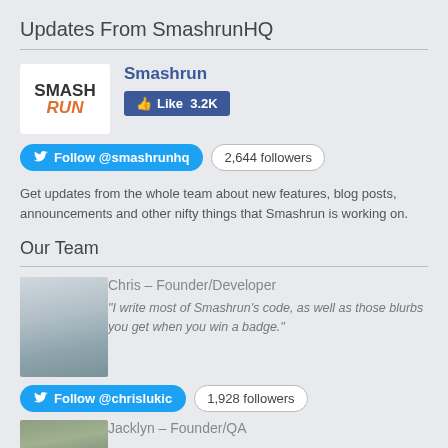Updates From SmashrunHQ
[Figure (logo): Smashrun logo — white box with SMASH in black bold and RUN in orange italic bold]
Smashrun
Like 3.2K
Follow @smashrunhq   2,644 followers
Get updates from the whole team about new features, blog posts, announcements and other nifty things that Smashrun is working on.
Our Team
[Figure (photo): Photo of Chris, a man smiling outdoors, Founder/Developer]
Chris – Founder/Developer
“I write most of Smashrun’s code, as well as those blurbs you get when you win a badge.”
Follow @chrislukic   1,928 followers
[Figure (photo): Photo of Jacklyn, Founder/QA]
Jacklyn – Founder/QA